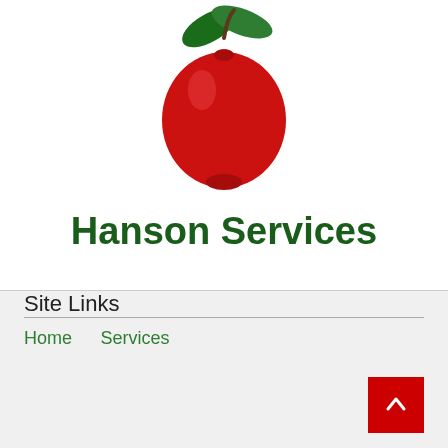[Figure (logo): Red apple with green leaves illustration — Hanson Services logo]
Hanson Services
Site Links
Home
Services